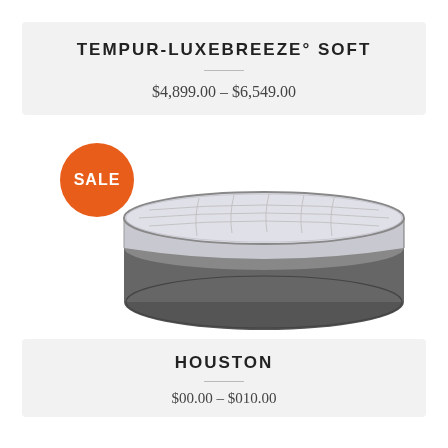TEMPUR-LUXEBREEZE° SOFT
$4,899.00 – $6,549.00
[Figure (photo): A white and grey mattress set with a quilted top surface shown in perspective view, with an orange SALE badge overlaid on the top-left area of the image]
HOUSTON
$00.00 – $010.00